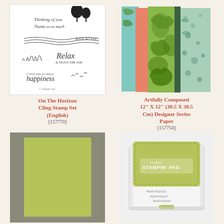[Figure (photo): On The Horizon Cling Stamp Set showing various nature-themed stamps with text like 'Thinking of you', 'BREATHE', 'Relax', 'happiness' on a white background]
[Figure (photo): Artfully Composed 12x12 Designer Series Paper showing stacked tropical leaf pattern papers in green, coral, teal and cream colors]
On The Horizon Cling Stamp Set (English)
[157770]
Artfully Composed 12" X 12" (30.5 X 30.5 Cm) Designer Series Paper
[157750]
[Figure (photo): Pear Pizzazz 8-1/2 x 11 cardstock sheet in yellow-green color on a gray background]
[Figure (photo): Pear Pizzazz Classic Stampin' Pad ink pad with yellow-green ink pad top in white case]
Pear Pizzazz 8-1/2" X 11" Cardstock
[131201]
Pear Pizzazz Classic Stampin' Pad
[147104]